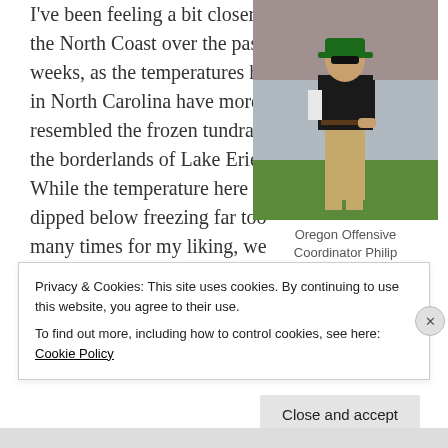I've been feeling a bit closer to the North Coast over the past few weeks, as the temperatures here in North Carolina have more resembled the frozen tundra of the borderlands of Lake Erie. While the temperature here has dipped below freezing far too many times for my liking, we have avoided the ample snow-footage that the Lake provides. I don't miss the thrice daily...
[Figure (photo): Oregon Offensive Coordinator Philip — man in black polo shirt, khaki pants, and green cap standing on a football field sideline]
Oregon Offensive Coordinator Philip
Privacy & Cookies: This site uses cookies. By continuing to use this website, you agree to their use.
To find out more, including how to control cookies, see here: Cookie Policy
Close and accept